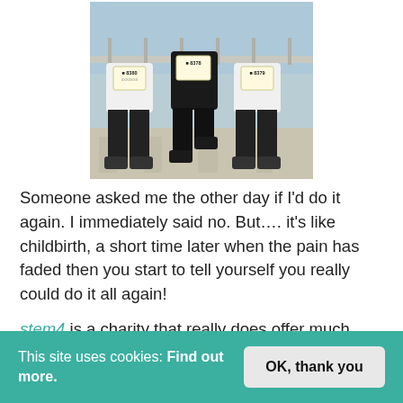[Figure (photo): Three people wearing white marathon t-shirts with race bibs numbered 8380, 8378, and 8379, standing by a waterfront railing]
Someone asked me the other day if I'd do it again. I immediately said no. But…. it's like childbirth, a short time later when the pain has faded then you start to tell yourself you really could do it all again!
stem4 is a charity that really does offer much needed
This site uses cookies: Find out more.
OK, thank you